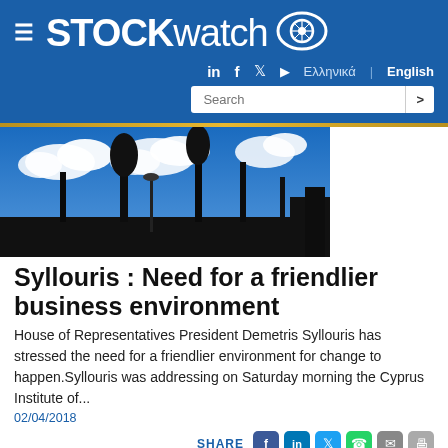STOCKwatch
[Figure (photo): Outdoor urban scene with blue sky, clouds, silhouettes of trees and street lamp posts against bright blue sky]
Syllouris : Need for a friendlier business environment
House of Representatives President Demetris Syllouris has stressed the need for a friendlier environment for change to happen.Syllouris was addressing on Saturday morning the Cyprus Institute of...
02/04/2018
[Figure (photo): Partial view of a building with green trees in front, bottom of page]